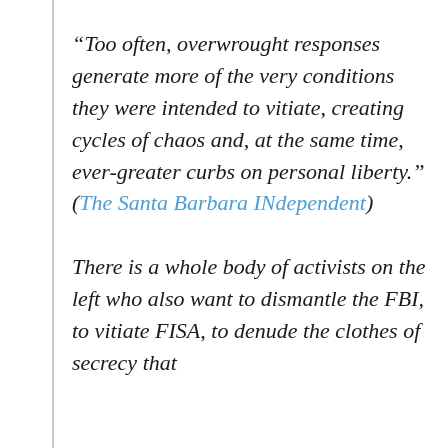“Too often, overwrought responses generate more of the very conditions they were intended to vitiate, creating cycles of chaos and, at the same time, ever-greater curbs on personal liberty.” (The Santa Barbara INdependent)
There is a whole body of activists on the left who also want to dismantle the FBI, to vitiate FISA, to denude the clothes of secrecy that